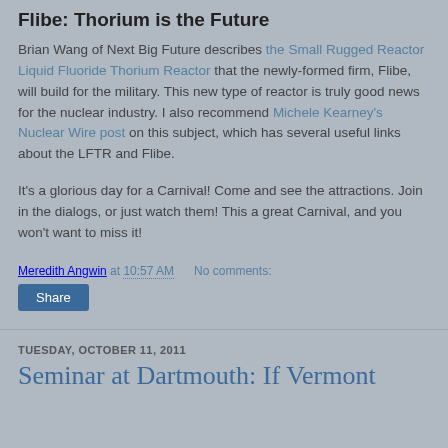Flibe: Thorium is the Future
Brian Wang of Next Big Future describes the Small Rugged Reactor Liquid Fluoride Thorium Reactor that the newly-formed firm, Flibe, will build for the military. This new type of reactor is truly good news for the nuclear industry. I also recommend Michele Kearney's Nuclear Wire post on this subject, which has several useful links about the LFTR and Flibe.
It's a glorious day for a Carnival! Come and see the attractions. Join in the dialogs, or just watch them! This a great Carnival, and you won't want to miss it!
Meredith Angwin at 10:57 AM   No comments:
Share
TUESDAY, OCTOBER 11, 2011
Seminar at Dartmouth: If Vermont